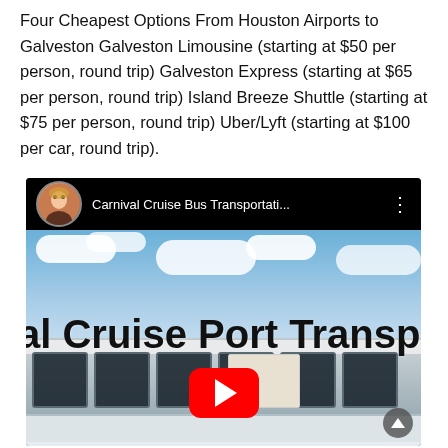Four Cheapest Options From Houston Airports to Galveston Galveston Limousine (starting at $50 per person, round trip) Galveston Express (starting at $65 per person, round trip) Island Breeze Shuttle (starting at $75 per person, round trip) Uber/Lyft (starting at $100 per car, round trip).
[Figure (screenshot): Embedded YouTube video player showing 'Carnival Cruise Bus Transportati...' with a channel avatar, video title, three-dot menu, and a thumbnail showing a white bus with bold text reading 'al Cruise Port Transp' overlaid on a sky background. A red YouTube play button is visible in the center bottom area.]